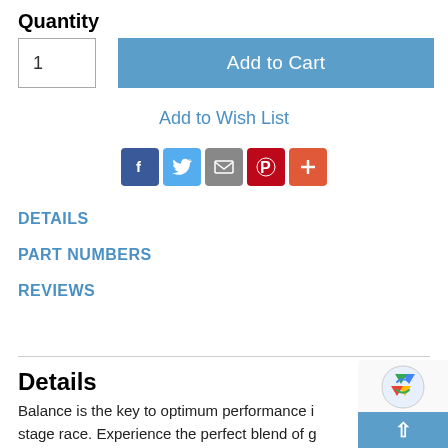Quantity
1
Add to Cart
Add to Wish List
[Figure (infographic): Social sharing icons row: Facebook (blue), Twitter (light blue), Email (gray), Pinterest (red), Plus/More (orange-red)]
DETAILS
PART NUMBERS
REVIEWS
Details
Balance is the key to optimum performance i... stage race. Experience the perfect blend of g... and comfort that teams AG2R La Mondiale Pr... Saddles, Tires, etc...